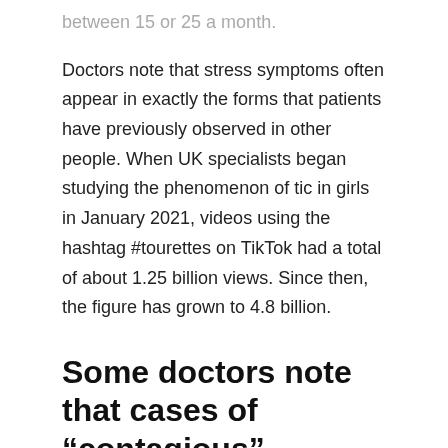between 15 or 25 a month.
Doctors note that stress symptoms often appear in exactly the forms that patients have previously observed in other people. When UK specialists began studying the phenomenon of tic in girls in January 2021, videos using the hashtag #tourettes on TikTok had a total of about 1.25 billion views. Since then, the figure has grown to 4.8 billion.
Some doctors note that cases of “contagious”
neurological disorders have occurred in the past, but were geographically limited. Now social media